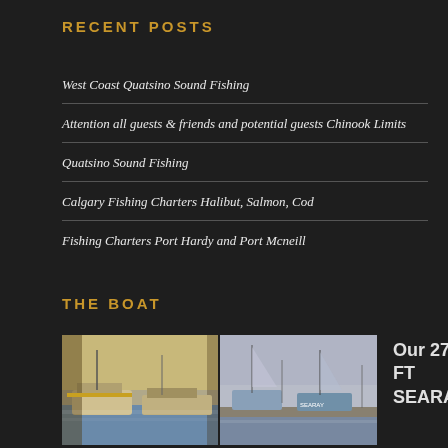RECENT POSTS
West Coast Quatsino Sound Fishing
Attention all guests & friends and potential guests Chinook Limits
Quatsino Sound Fishing
Calgary Fishing Charters Halibut, Salmon, Cod
Fishing Charters Port Hardy and Port Mcneill
THE BOAT
[Figure (photo): Two marine boats/vessels docked in a marina, side-by-side photos]
Our 27 FT SEARAY